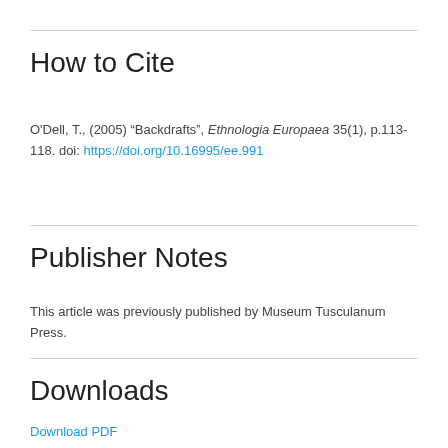How to Cite
O'Dell, T., (2005) “Backdrafts”, Ethnologia Europaea 35(1), p.113-118. doi: https://doi.org/10.16995/ee.991
Publisher Notes
This article was previously published by Museum Tusculanum Press.
Downloads
Download PDF